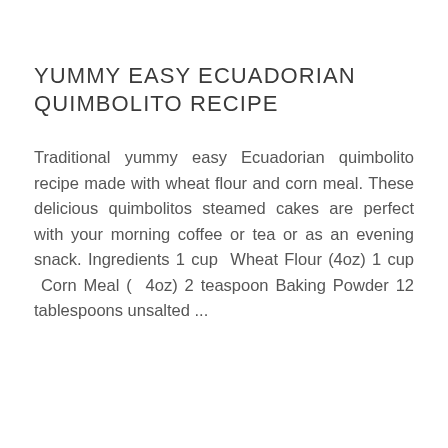YUMMY EASY ECUADORIAN QUIMBOLITO RECIPE
Traditional yummy easy Ecuadorian quimbolito recipe made with wheat flour and corn meal. These delicious quimbolitos steamed cakes are perfect with your morning coffee or tea or as an evening snack. Ingredients 1 cup  Wheat Flour (4oz) 1 cup  Corn Meal ( 4oz) 2 teaspoon Baking Powder 12 tablespoons unsalted ...